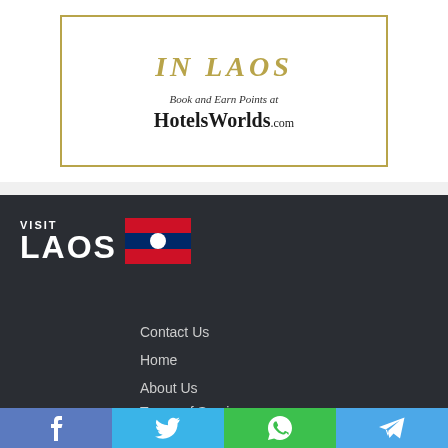[Figure (illustration): Advertisement box with gold border showing 'IN LAOS' in gold italic serif text, 'Book and Earn Points at' in italic script, and 'HotelsWorlds.com' in bold serif text]
[Figure (logo): Visit Laos logo with white text 'VISIT LAOS' and Laos flag (red-blue-red horizontal stripes with white circle)]
Contact Us
Home
About Us
Terms of Service
[Figure (infographic): Social share bar with four buttons: Facebook (blue with f icon), Twitter (light blue with bird icon), WhatsApp (green with phone icon), Telegram (blue with paper plane icon)]